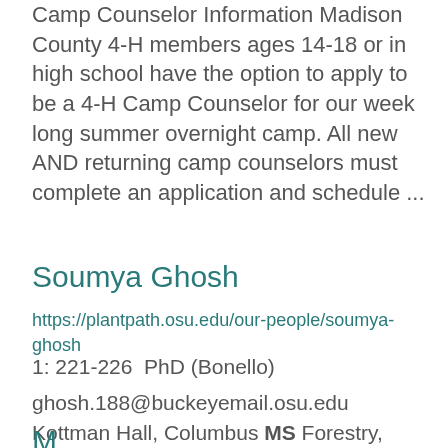Camp Counselor Information Madison County 4-H members ages 14-18 or in high school have the option to apply to be a 4-H Camp Counselor for our week long summer overnight camp. All new AND returning camp counselors must complete an application and schedule ...
Soumya Ghosh
https://plantpath.osu.edu/our-people/soumya-ghosh
1: 221-226  PhD (Bonello)
ghosh.188@buckeyemail.osu.edu Kottman Hall, Columbus MS Forestry, Forest ...
Mariah Hazel